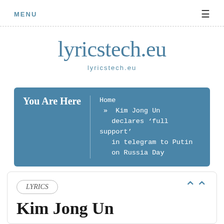MENU ≡
lyricstech.eu
lyricstech.eu
You Are Here Home » Kim Jong Un declares 'full support' in telegram to Putin on Russia Day
LYRICS
Kim Jong Un